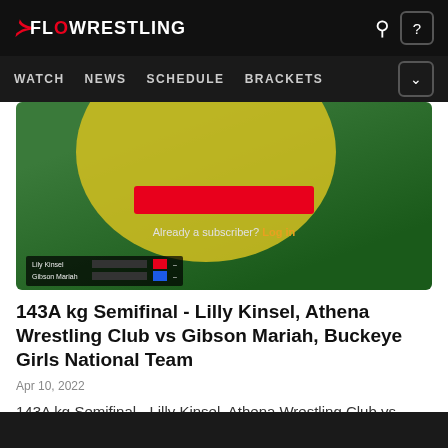FLOWRESTLING — WATCH | NEWS | SCHEDULE | BRACKETS
[Figure (screenshot): Wrestling match video thumbnail showing a green and yellow wrestling mat with a subscriber paywall overlay. Text reads: 'Already a subscriber? Log in'. Score overlay shows: Lily Kinsel (red) vs Gibson Mariah (blue).]
143A kg Semifinal - Lilly Kinsel, Athena Wrestling Club vs Gibson Mariah, Buckeye Girls National Team
Apr 10, 2022
143A kg Semifinal - Lilly Kinsel, Athena Wrestling Club vs
Join Now